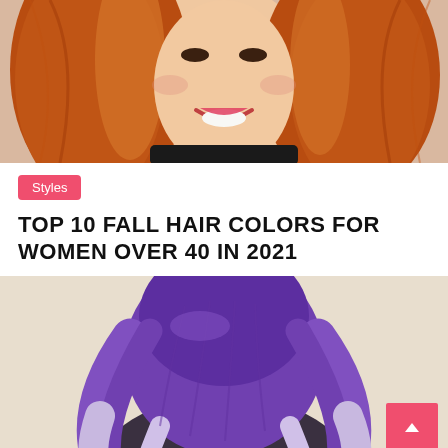[Figure (photo): Close-up of a smiling woman with auburn/copper-toned medium-length hair, wearing red lipstick and a black outfit]
Styles
TOP 10 FALL HAIR COLORS FOR WOMEN OVER 40 IN 2021
[Figure (photo): Back view of a woman with purple ombre hair fading to lavender/silver at the ends, shoulder-length wavy style]